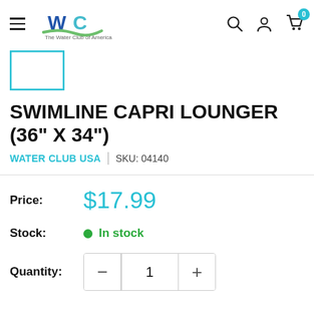The Water Club of America, Inc. — Navigation header with search, account, and cart (0 items)
[Figure (screenshot): Product image placeholder: teal/cyan outlined rectangle representing a product thumbnail]
SWIMLINE CAPRI LOUNGER (36" X 34")
WATER CLUB USA | SKU: 04140
Price: $17.99
Stock: In stock
Quantity: 1